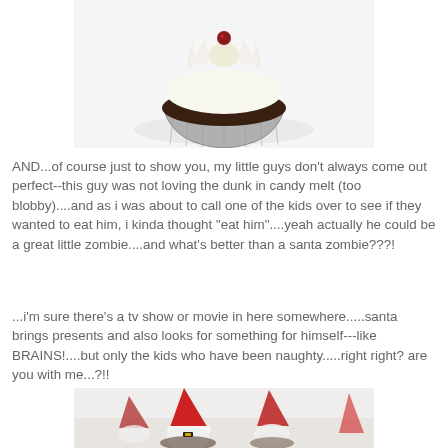[Figure (photo): Close-up photo of a chocolate cupcake with white swirled frosting in a silver foil wrapper, viewed from above on a white background]
AND...of course just to show you, my little guys don't always come out perfect--this guy was not loving the dunk in candy melt (too blobby)....and as i was about to call one of the kids over to see if they wanted to eat him, i kinda thought "eat him"....yeah actually he could be a great little zombie....and what's better than a santa zombie???!
...i'm sure there's a tv show or movie in here somewhere.....santa brings presents and also looks for something for himself---like BRAINS!....but only the kids who have been naughty.....right right? are you with me...?!!
[Figure (photo): Photo of Santa Claus cupcake toppers made from candy/fondant — red cone-shaped hats with white frosting beards, arranged on chocolate cupcakes in silver foil wrappers on a white surface]